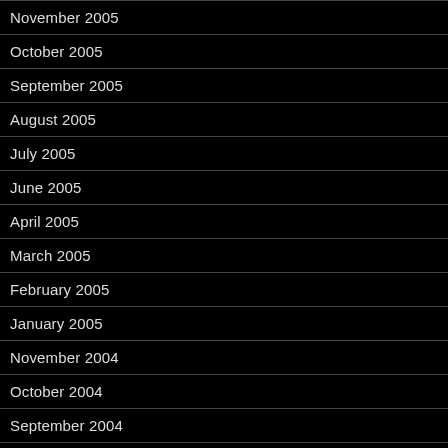November 2005
October 2005
September 2005
August 2005
July 2005
June 2005
April 2005
March 2005
February 2005
January 2005
November 2004
October 2004
September 2004